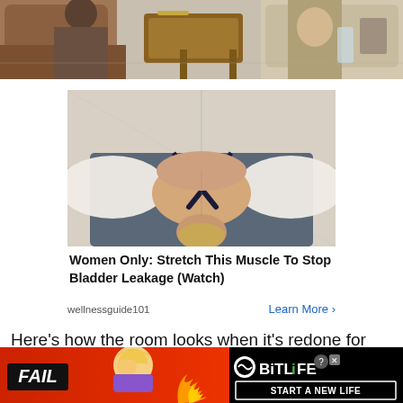[Figure (photo): Top portion of a living room scene showing couches, a wooden coffee table, and people sitting in the background]
[Figure (photo): Advertisement photo of a woman lying face-down on a yoga mat doing a stretch pose, seen from above, with arms extended]
Women Only: Stretch This Muscle To Stop Bladder Leakage (Watch)
wellnessguide101    Learn More >
Here's how the room looks when it's redone for Annie's wedding
[Figure (screenshot): Bottom advertisement banner for BitLife app with red background, FAIL badge, cartoon facepalm character, flames, BitLife logo and 'START A NEW LIFE' button on black background]